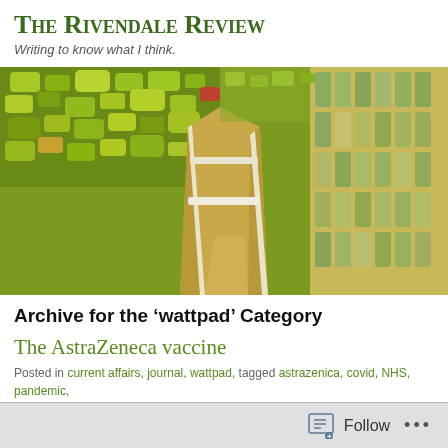The Rivendale Review
Writing to know what I think.
[Figure (photo): Artistic/stylized photo of a wooden boardwalk path through lush green foliage, rendered with a painterly/mosaic effect in yellows and greens]
Archive for the ‘wattpad’ Category
The AstraZeneca vaccine
Posted in current affairs, journal, wattpad, tagged astrazenica, covid, NHS, pandemic, effects, vaccination on March 14, 2021| 14 Comments »
[Figure (photo): Partial view of a dark image strip at bottom, appears to be a photo thumbnail]
Follow ...